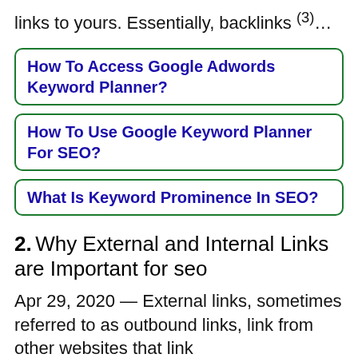links to yours. Essentially, backlinks (3)…
How To Access Google Adwords Keyword Planner?
How To Use Google Keyword Planner For SEO?
What Is Keyword Prominence In SEO?
2. Why External and Internal Links are Important for seo
Apr 29, 2020 — External links, sometimes referred to as outbound links, link from other websites that link